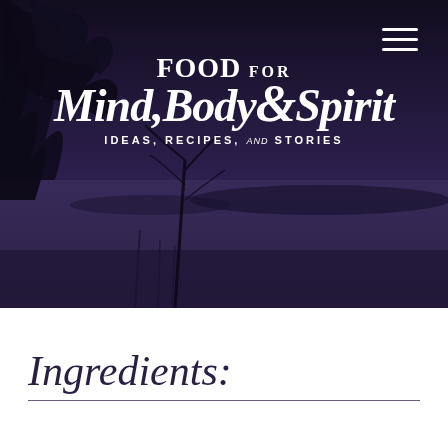[Figure (photo): Dark purple-toned photograph of a lake scene with trees in the foreground at night or dusk, serving as background for the blog header. A hamburger menu icon appears in the top right corner. Overlaid text reads: FOOD FOR Mind, Body & Spirit IDEAS, RECIPES, and STORIES]
Ingredients: